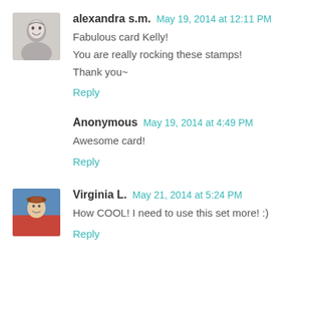alexandra s.m.  May 19, 2014 at 12:11 PM
Fabulous card Kelly!
You are really rocking these stamps!
Thank you~
Reply
Anonymous  May 19, 2014 at 4:49 PM
Awesome card!
Reply
Virginia L.  May 21, 2014 at 5:24 PM
How COOL! I need to use this set more! :)
Reply